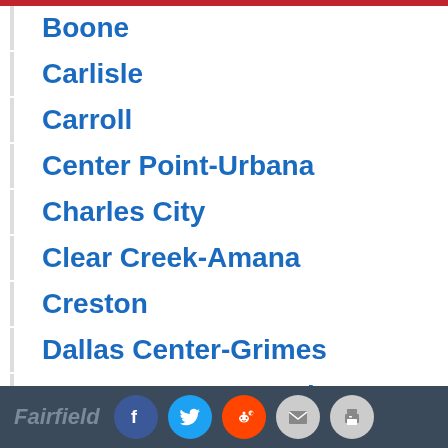Boone
Carlisle
Carroll
Center Point-Urbana
Charles City
Clear Creek-Amana
Creston
Dallas Center-Grimes
Davenport Assumption
Decorah
DeWitt
Denison-Schleswig
Fairfield